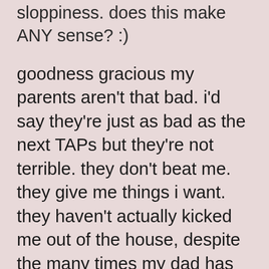sloppiness. does this make ANY sense? :)
goodness gracious my parents aren't that bad. i'd say they're just as bad as the next TAPs but they're not terrible. they don't beat me. they give me things i want. they haven't actually kicked me out of the house, despite the many times my dad has threatened that kind of thing. when we're happy we're a really loving group and we have a lot of fun. it's just that we haven't been happy for a while, and like all phases, this one will pass.
i'm so lucky to be here and i know i'm lucky and i know i should care about being lucky and